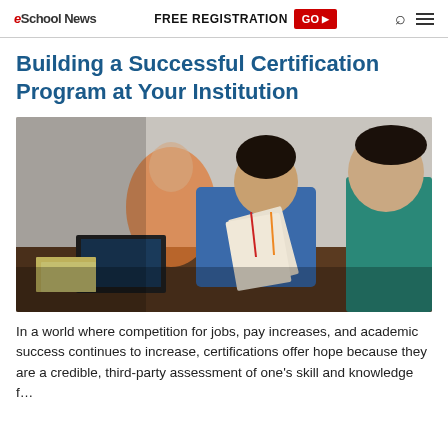eSchool News | FREE REGISTRATION GO ▶
Building a Successful Certification Program at Your Institution
[Figure (photo): Students sitting at desks, reading papers and working on laptops in a classroom or conference setting.]
In a world where competition for jobs, pay increases, and academic success continues to increase, certifications offer hope because they are a credible, third-party assessment of one's skill and knowledge f…